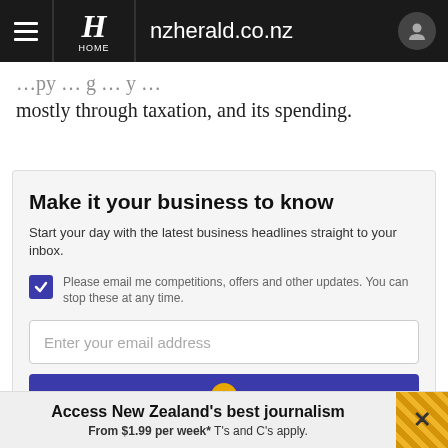nzherald.co.nz
mostly through taxation, and its spending.
Make it your business to know
Start your day with the latest business headlines straight to your inbox.
Please email me competitions, offers and other updates. You can stop these at any time.
Enter your email address
Access New Zealand's best journalism
From $1.99 per week* T's and C's apply.